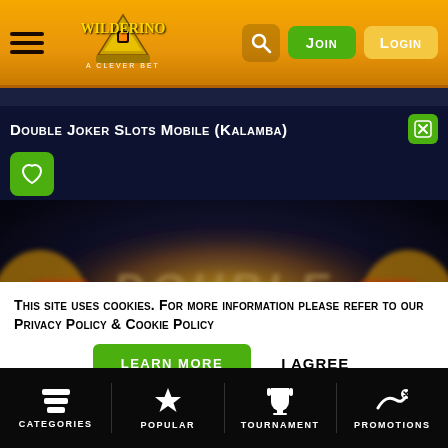[Figure (screenshot): Wilderino casino website header with hamburger menu, logo, search icon, Join and Login buttons on gold/amber background]
Double Joker Slots Mobile (Kalamba)
[Figure (screenshot): Blurred Double Joker slot game preview with dark background and golden decorative frame]
This site uses cookies. For more information please refer to our Privacy Policy & Cookie Policy
Learn more
I Agree
Categories | Popular | Tournament | Promotions